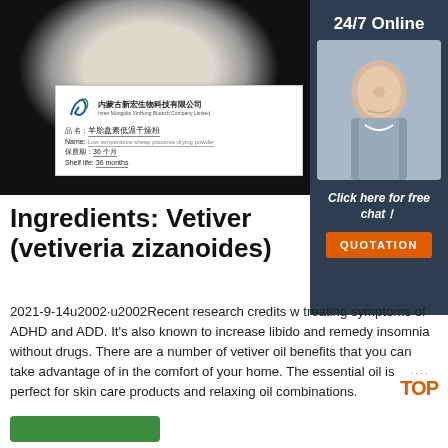[Figure (photo): Product photo showing a white/cream powder on a dark background with a product label card. Label shows company name in Chinese: 内蒙古新宏生物科技有限公司, Inner Mongolia XinHong Biotech Company Limited, product name in Chinese and English: low temperature sheep placenta drying powder, shelf life: 36 months.]
Ingredients: Vetiver (vetiveria zizanoides)
2021-9-14u2002·u2002Recent research credits with treating symptoms of ADHD and ADD. It's also known to increase libido and remedy insomnia without drugs. There are a number of vetiver oil benefits that you can take advantage of in the comfort of your home. The essential oil is perfect for skin care products and relaxing oil combinations.
[Figure (photo): Sidebar with customer service agent photo, 24/7 Online label, Click here for free chat text, and QUOTATION button in orange.]